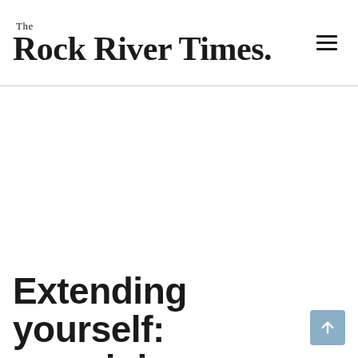The Rock River Times.
Extending yourself: examining extension